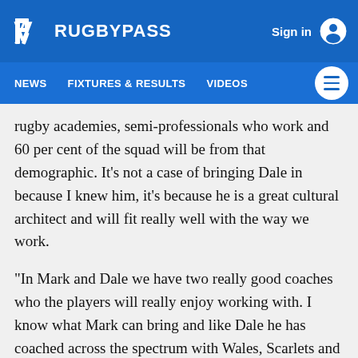RUGBYPASS | Sign in
NEWS  FIXTURES & RESULTS  VIDEOS
rugby academies, semi-professionals who work and 60 per cent of the squad will be from that demographic. It's not a case of bringing Dale in because I knew him, it's because he is a great cultural architect and will fit really well with the way we work.
“In Mark and Dale we have two really good coaches who the players will really enjoy working with. I know what Mark can bring and like Dale he has coached across the spectrum with Wales, Scarlets and RGC and he understands the mixture of young guys and semi-pros as well. We also have a strength and